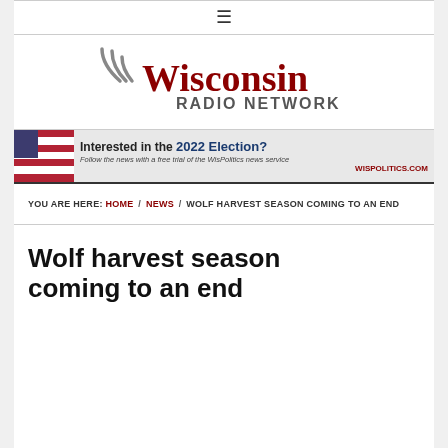≡
[Figure (logo): Wisconsin Radio Network logo with radio wave swoosh marks in dark red/maroon]
[Figure (infographic): WisPolitics.com banner ad: 'Interested in the 2022 Election? Follow the news with a free trial of the WisPolitics news service. WISPOLITICS.COM' with American flag image on left]
YOU ARE HERE: HOME / NEWS / WOLF HARVEST SEASON COMING TO AN END
Wolf harvest season coming to an end